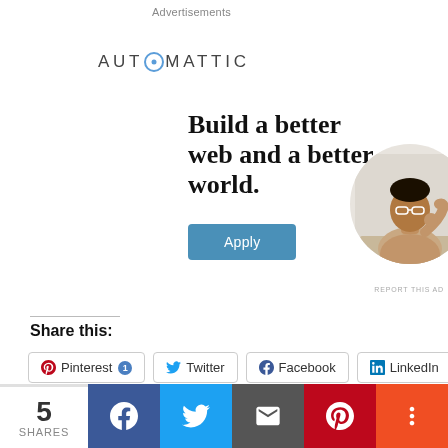Advertisements
[Figure (illustration): Automattic advertisement banner with logo, headline 'Build a better web and a better world.', an Apply button, and a circular photo of a person thinking at a desk.]
REPORT THIS AD
Share this:
Pinterest 1  Twitter  Facebook  LinkedIn
[Figure (infographic): Bottom social share bar with counts: 5 SHARES, Facebook, Twitter, Email, Pinterest, More buttons]